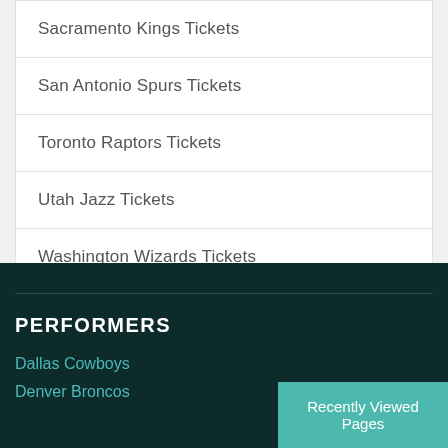Sacramento Kings Tickets
San Antonio Spurs Tickets
Toronto Raptors Tickets
Utah Jazz Tickets
Washington Wizards Tickets
PERFORMERS
Dallas Cowboys
Denver Broncos
Recently Viewed Pages